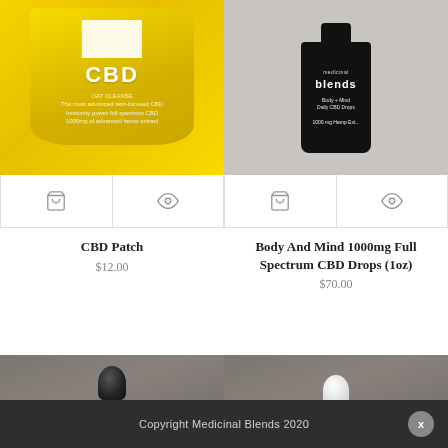[Figure (photo): Yellow CBD patch product packaging]
[Figure (photo): Black bottle of Medicinal Blends Body + Mind Daily CBD Drops 1000mg Hemp Extract]
[Figure (photo): Black dropper bottle top, partially visible]
[Figure (photo): White dropper bottle top, partially visible]
CBD Patch
$12.00
Body And Mind 1000mg Full Spectrum CBD Drops (1oz)
$70.00
Copyright Medicinal Blends 2020